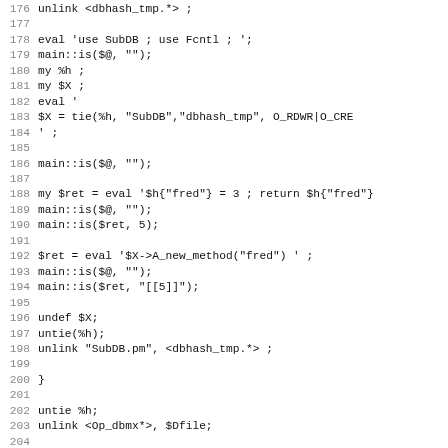[Figure (screenshot): Source code listing in Perl showing lines 176-208, with line numbers on the left and monospace code on the right. Code includes eval statements, SubDB tie operations, method calls, and DBM Filter tests.]